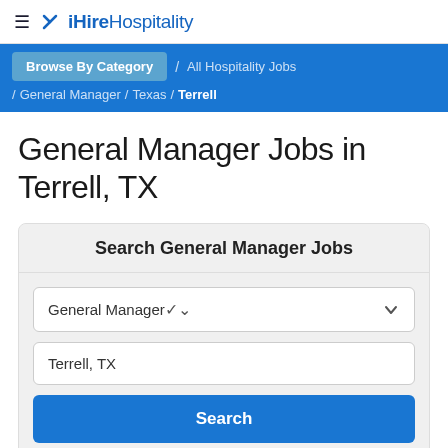iHireHospitality
Browse By Category / All Hospitality Jobs / General Manager / Texas / Terrell
General Manager Jobs in Terrell, TX
Search General Manager Jobs
General Manager
Terrell, TX
Search